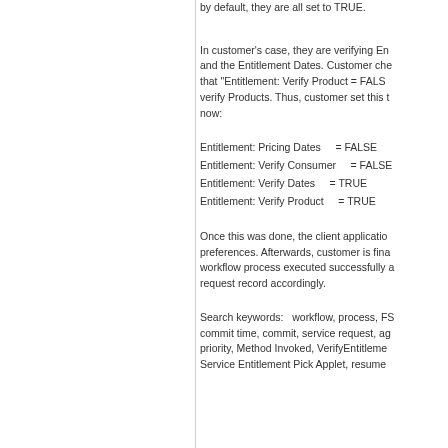by default, they are all set to TRUE.
In customer's case, they are verifying Entitlement Pricing Dates and the Entitlement Dates. Customer checked and found that "Entitlement: Verify Product = FALSE" meaning don't verify Products. Thus, customer set this to FALSE for now:
Entitlement: Pricing Dates    = FALSE
Entitlement: Verify Consumer    = FALSE
Entitlement: Verify Dates    = TRUE
Entitlement: Verify Product    = TRUE
Once this was done, the client application updated the preferences. Afterwards, customer is finally able to have the workflow process executed successfully and updated the service request record accordingly.
Search keywords:   workflow, process, FS Activity, commit time, commit, service request, agreement, priority, Method Invoked, VerifyEntitlement, Entitlement, Service Entitlement Pick Applet, resume